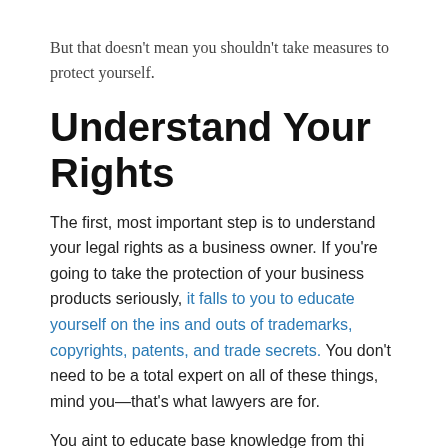But that doesn't mean you shouldn't take measures to protect yourself.
Understand Your Rights
The first, most important step is to understand your legal rights as a business owner. If you're going to take the protection of your business products seriously, it falls to you to educate yourself on the ins and outs of trademarks, copyrights, patents, and trade secrets. You don't need to be a total expert on all of these things, mind you—that's what lawyers are for.
You aint...